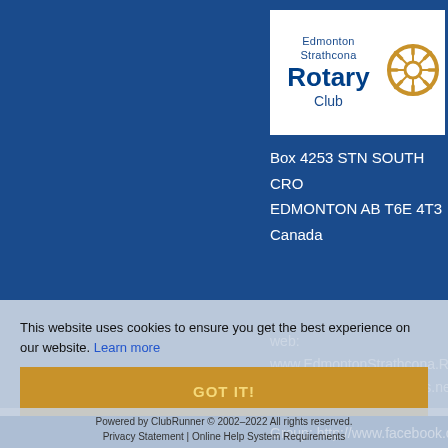[Figure (logo): Edmonton Strathcona Rotary Club logo with gear wheel icon on white background]
Box 4253 STN SOUTH CRO
EDMONTON AB T6E 4T3
Canada
web:
www.EdmontonStrathcona.Rota...
email: strathconian@telus.net
Facebook Group: http://www.facebook.co...
Facebook Fan Page: https://www.facebook.com...
Twitter:
https://twitter.com/edmstrathrota...
This website uses cookies to ensure you get the best experience on our website. Learn more
GOT IT!
Powered by ClubRunner © 2002–2022 All rights reserved.
Privacy Statement | Online Help System Requirements